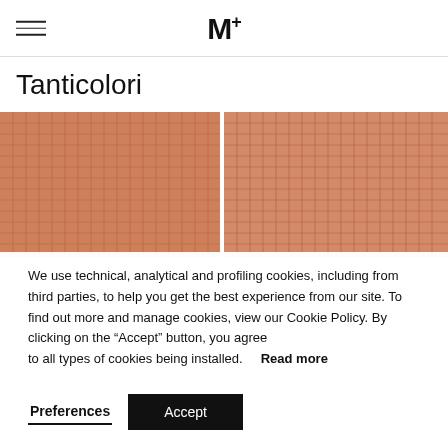M+
Tanticolori
[Figure (photo): Two rectangular tile panels side by side showing terracotta/salmon-colored mosaic grid tiles]
We use technical, analytical and profiling cookies, including from third parties, to help you get the best experience from our site. To find out more and manage cookies, view our Cookie Policy. By clicking on the “Accept” button, you agree to all types of cookies being installed. Read more